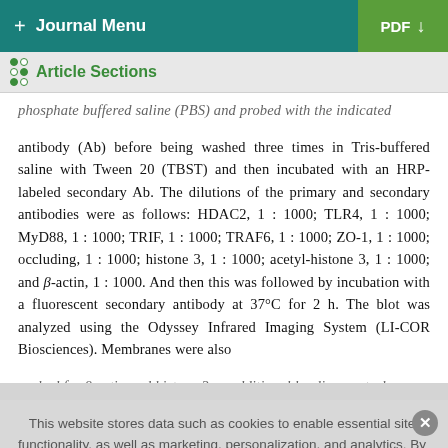+ Journal Menu  PDF ↓
Article Sections
phosphate buffered saline (PBS) and probed with the indicated antibody (Ab) before being washed three times in Tris-buffered saline with Tween 20 (TBST) and then incubated with an HRP-labeled secondary Ab. The dilutions of the primary and secondary antibodies were as follows: HDAC2, 1 : 1000; TLR4, 1 : 1000; MyD88, 1 : 1000; TRIF, 1 : 1000; TRAF6, 1 : 1000; ZO-1, 1 : 1000; occluding, 1 : 1000; histone 3, 1 : 1000; acetyl-histone 3, 1 : 1000; and β-actin, 1 : 1000. And then this was followed by incubation with a fluorescent secondary antibody at 37°C for 2 h. The blot was analyzed using the Odyssey Infrared Imaging System (LI-COR Biosciences). Membranes were also probed for β actin and histone 3 as additional loading controls
This website stores data such as cookies to enable essential site functionality, as well as marketing, personalization, and analytics. By remaining on this website you indicate your consent. Cookie Policy